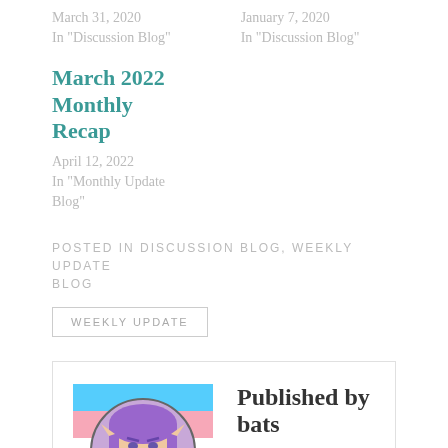March 31, 2020
In "Discussion Blog"
January 7, 2020
In "Discussion Blog"
March 2022 Monthly Recap
April 12, 2022
In "Monthly Update Blog"
POSTED IN DISCUSSION BLOG, WEEKLY UPDATE BLOG
WEEKLY UPDATE
Published by bats
A writer, artist, native English speaker, and intermediate Spanish speaker, working on